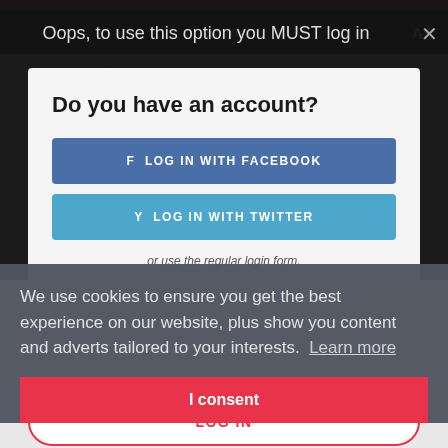Share  AA
Oops, to use this option you MUST log in
Do you have an account?
f LOG IN WITH FACEBOOK
y LOG IN WITH TWITTER
or use the regular login form.
We use cookies to ensure you get the best experience on our website, plus show you content and adverts tailored to your interests.  Learn more
PASSWORD
I consent
LOG IN